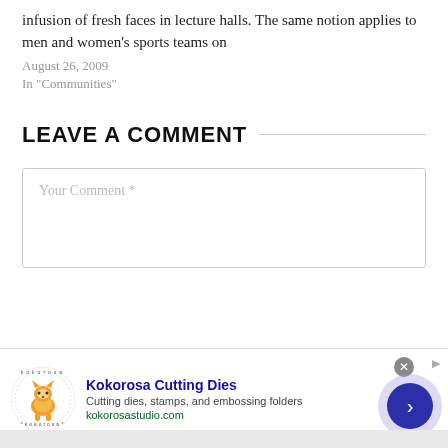infusion of fresh faces in lecture halls. The same notion applies to men and women's sports teams on
August 26, 2009
In "Communities"
LEAVE A COMMENT
Your Comment *
[Figure (other): Advertisement banner for Kokorosa Cutting Dies with logo, title, description, and website URL. Includes close button and navigation arrow.]